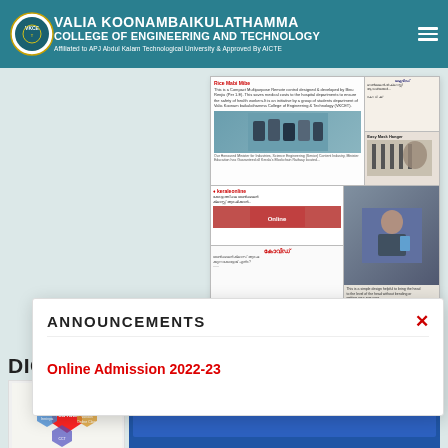VALIA KOONAMBAIKULATHAMMA COLLEGE OF ENGINEERING AND TECHNOLOGY Affiliated to APJ Abdul Kalam Technological University & Approved By AICTE
[Figure (screenshot): News collage showing multiple newspaper/media articles about student projects including a touchless hand sanitizer dispenser, mask hanger, and COVID-19 related coverage in Kerala media]
DIGITALLY EQU...
[Figure (screenshot): Popup announcements modal showing 'ANNOUNCEMENTS' heading with a red X close button and link 'Online Admission 2022-23'. Background shows partial college website.]
[Figure (infographic): Bottom section showing YouTube, Innivya, Various Online Classes, and other digital platform icons, plus a blue panel about Conducting Online classes for batch students]